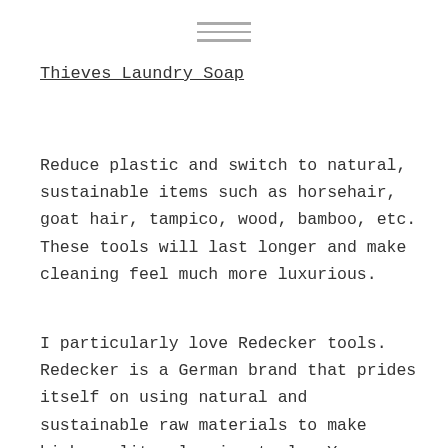[Figure (other): Hamburger menu icon (three horizontal lines)]
Thieves Laundry Soap
Reduce plastic and switch to natural, sustainable items such as horsehair, goat hair, tampico, wood, bamboo, etc. These tools will last longer and make cleaning feel much more luxurious.
I particularly love Redecker tools. Redecker is a German brand that prides itself on using natural and sustainable raw materials to make high-quality cleaning tools. You can buy their products online